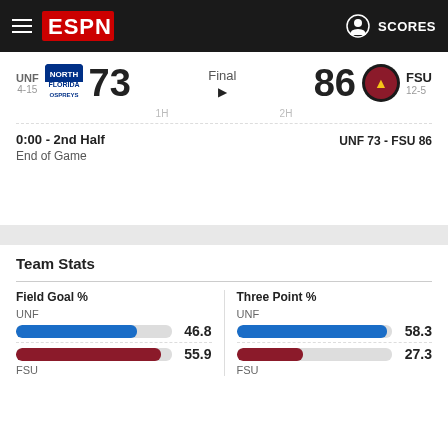ESPN SCORES
UNF 4-15  73   Final   86  FSU 12-5
0:00 - 2nd Half   UNF 73 - FSU 86
End of Game
Team Stats
[Figure (bar-chart): Field Goal %]
[Figure (bar-chart): Three Point %]